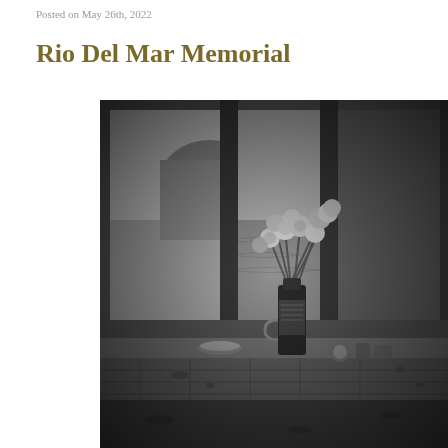Posted on May 26th, 2022
Rio Del Mar Memorial
[Figure (photo): Black and white photograph of a memorial at Rio Del Mar. A glass vase with flowers (roses/tulips) sits on a concrete ledge in front of a large window with vertical metal bars or dividers. The window reflects cliffs and vegetation. Small items (candles or stones) are placed next to the vase on the ledge. The scene has a somber, memorial quality.]